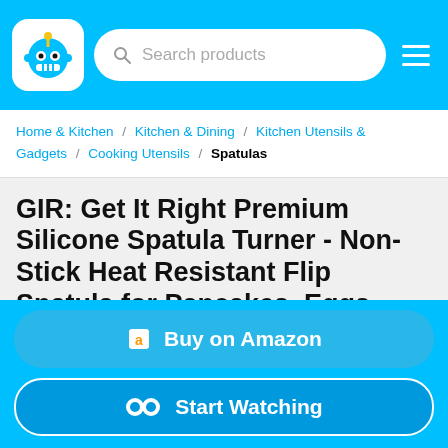Search products
Home & Kitchen / Kitchen & Dining / Kitchen Utensils & Gadgets / Cooking Utensils / Spatulas
GIR: Get It Right Premium Silicone Spatula Turner - Non-Stick Heat Resistant Flip Spatula for Pancakes, Eggs, Cooking, Baking, and Mixing | Mini - 11 IN, Red
Buy on Amazon
Start Watching